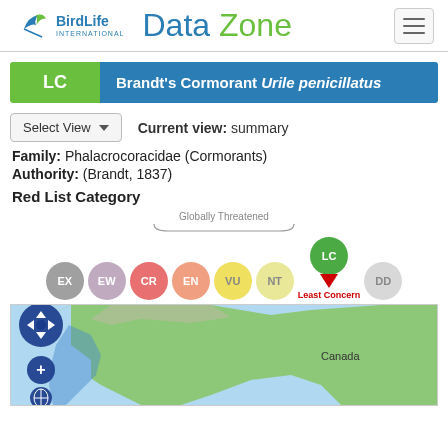BirdLife International — Data Zone
LC Brandt's Cormorant Urile penicillatus
Current view: summary
Family: Phalacrocoracidae (Cormorants)
Authority: (Brandt, 1837)
Red List Category
[Figure (infographic): IUCN Red List category scale showing circles EX, EW, CR, EN, VU, NT, LC (selected/highlighted with pin), DD. 'Globally Threatened' brace label over CR-VU. LC is marked as Least Concern in red below.]
[Figure (map): Map showing North America with range of Brandt's Cormorant along the Pacific coast. Blue ocean, green/tan land. Navigation controls visible on left. 'Canada' label visible.]